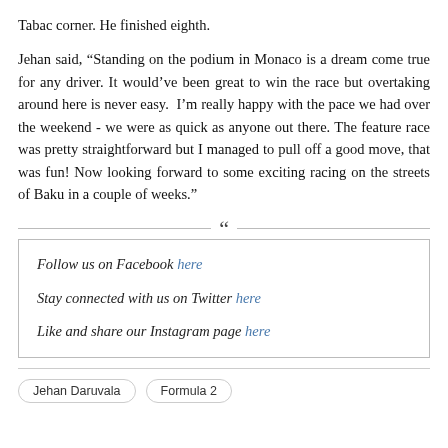Tabac corner. He finished eighth.
Jehan said, “Standing on the podium in Monaco is a dream come true for any driver. It would’ve been great to win the race but overtaking around here is never easy.  I’m really happy with the pace we had over the weekend - we were as quick as anyone out there. The feature race was pretty straightforward but I managed to pull off a good move, that was fun! Now looking forward to some exciting racing on the streets of Baku in a couple of weeks.”
Follow us on Facebook here
Stay connected with us on Twitter here
Like and share our Instagram page here
Jehan Daruvala   Formula 2